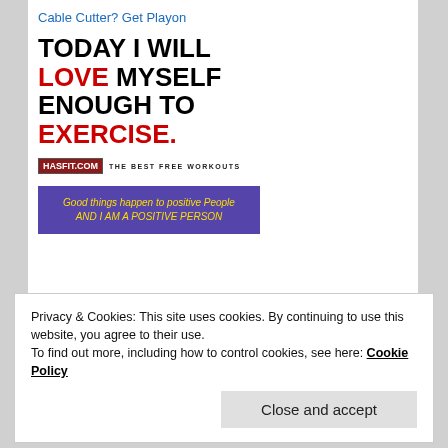Cable Cutter? Get Playon
[Figure (infographic): Motivational fitness quote: TODAY I WILL LOVE MYSELF ENOUGH TO EXERCISE. with HASfit logo and tagline THE BEST FREE WORKOUTS]
[Figure (infographic): Purple banner with yellow text: Good things happen to positive People AND I AM A POSITIVE PERSON]
Privacy & Cookies: This site uses cookies. By continuing to use this website, you agree to their use.
To find out more, including how to control cookies, see here: Cookie Policy
Close and accept